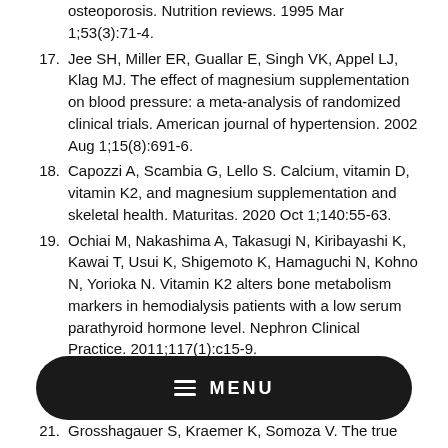17. Jee SH, Miller ER, Guallar E, Singh VK, Appel LJ, Klag MJ. The effect of magnesium supplementation on blood pressure: a meta-analysis of randomized clinical trials. American journal of hypertension. 2002 Aug 1;15(8):691-6.
18. Capozzi A, Scambia G, Lello S. Calcium, vitamin D, vitamin K2, and magnesium supplementation and skeletal health. Maturitas. 2020 Oct 1;140:55-63.
19. Ochiai M, Nakashima A, Takasugi N, Kiribayashi K, Kawai T, Usui K, Shigemoto K, Hamaguchi N, Kohno N, Yorioka N. Vitamin K2 alters bone metabolism markers in hemodialysis patients with a low serum parathyroid hormone level. Nephron Clinical Practice. 2011;117(1):c15-9.
20. Seyidoglu N, Inan S, Aydin C. A prominent
21. Grosshagauer S, Kraemer K, Somoza V. The true